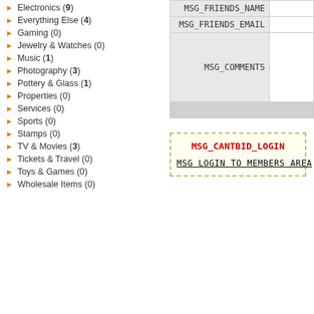Electronics (9)
Everything Else (4)
Gaming (0)
Jewelry & Watches (0)
Music (1)
Photography (3)
Pottery & Glass (1)
Properties (0)
Services (0)
Sports (0)
Stamps (0)
TV & Movies (3)
Tickets & Travel (0)
Toys & Games (0)
Wholesale Items (0)
[Figure (logo): RSS Auctions badge with orange RSS label and gray AUCTIONS label]
| Label | Input |
| --- | --- |
| MSG_FRIENDS_NAME |  |
| MSG_FRIENDS_EMAIL |  |
| MSG_COMMENTS |  |
MSG_CANTBID_LOGIN
MSG LOGIN TO MEMBERS AREA